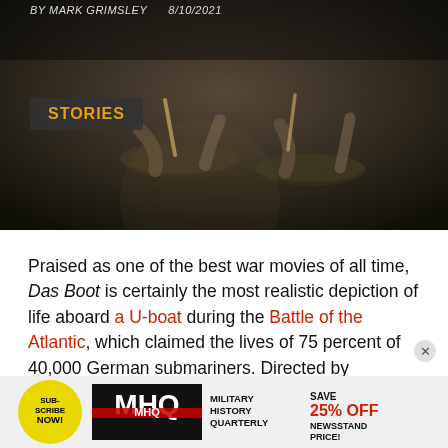[Figure (photo): Dark background photo of musicians playing percussion instruments, partially visible hands and drums]
BY MARK GRIMSLEY   8/10/2021
STORIES
Praised as one of the best war movies of all time, Das Boot is certainly the most realistic depiction of life aboard a U-boat during the Battle of the Atlantic, which claimed the lives of 75 percent of 40,000 German submariners. Directed by Wolfgang Petersen, the German film was first conceived as a five-hour television miniseries (ultimately broadcast in 1984-85) but initially abridged for theatrical release in 1981.
[Figure (infographic): Advertisement banner: Subscribe Now! MHQ Military History Quarterly - Save 25% off newsstand price!]